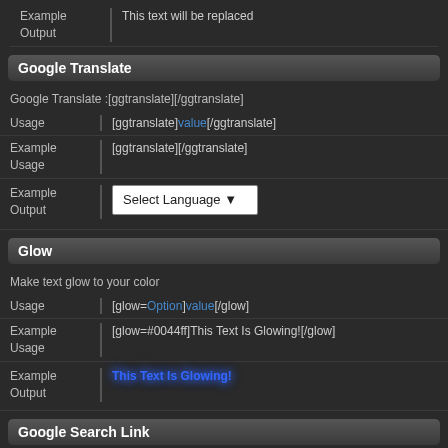| Label | Value |
| --- | --- |
| Example Output | This text will be replaced |
Google Translate
Google Translate :[ggtranslate][/ggtranslate]
| Label | Value |
| --- | --- |
| Usage | [ggtranslate]value[/ggtranslate] |
| Example Usage | [ggtranslate][/ggtranslate] |
| Example Output | Select Language ▼ |
Glow
Make text glow to your color
| Label | Value |
| --- | --- |
| Usage | [glow=Option]value[/glow] |
| Example Usage | [glow=#0044ff]This Text Is Glowing![/glow] |
| Example Output | This Text Is Glowing! |
Google Search Link
Adds a link to a Google Search.